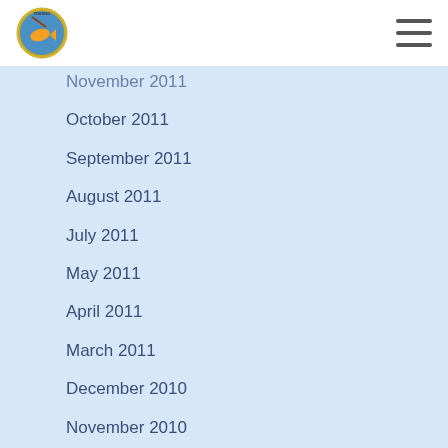Fishing website header with logo and hamburger menu
November 2011
October 2011
September 2011
August 2011
July 2011
May 2011
April 2011
March 2011
December 2010
November 2010
October 2010
September 2010
August 2010
July 2010